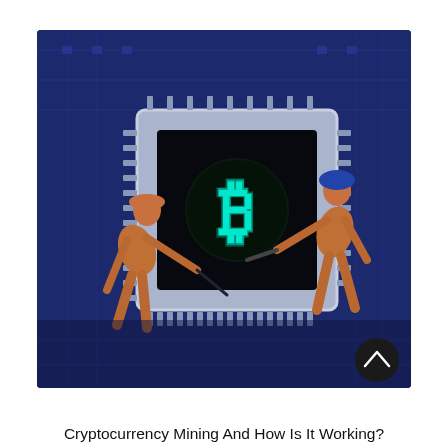[Figure (photo): Miniature figurines of workers/miners appear to be mining on a large computer chip/CPU that displays a glowing teal Bitcoin logo symbol. The background is a blue-toned circuit board. One figure on the left holds a pickaxe-like tool, another on the right uses a similar tool, both working on the chip. A dark circular scroll-up button appears in the lower right corner of the image.]
Cryptocurrency Mining And How Is It Working?